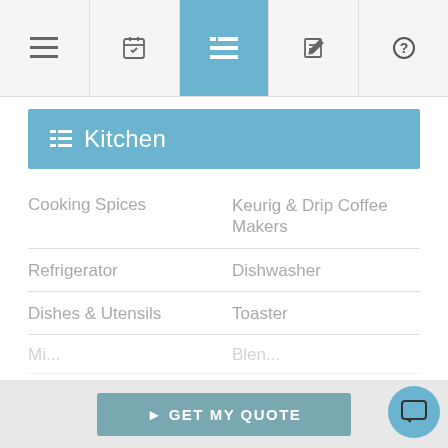[Figure (screenshot): Navigation bar with 5 icons: menu, calendar, list (active/highlighted in blue), edit, and help]
Kitchen
Cooking Spices
Keurig & Drip Coffee Makers
Refrigerator
Dishwasher
Dishes & Utensils
Toaster
...
Read More
> GET MY QUOTE